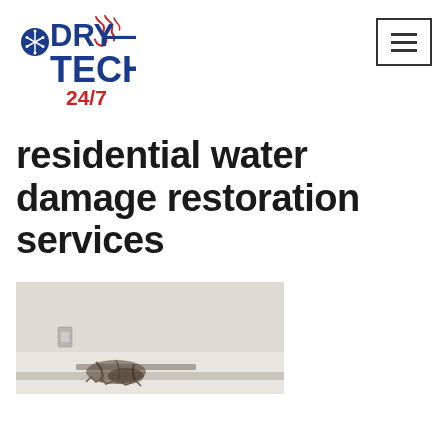[Figure (logo): DRY TECH 24/7 logo with snowflake icon and flame/swirl graphic in blue and red]
[Figure (other): Navigation hamburger menu button — three horizontal lines in a bordered square]
residential water damage restoration services
[Figure (photo): Photo of interior room with water damage / mold visible near baseboard, partially shown]